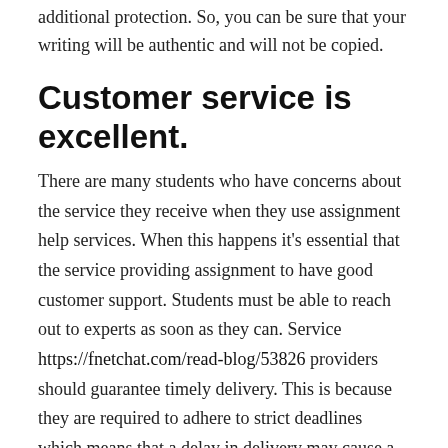additional protection. So, you can be sure that your writing will be authentic and will not be copied.
Customer service is excellent.
There are many students who have concerns about the service they receive when they use assignment help services. When this happens it's essential that the service providing assignment to have good customer support. Students must be able to reach out to experts as soon as they can. Service https://fnetchat.com/read-blog/53826 providers should guarantee timely delivery. This is because they are required to adhere to strict deadlines which means that a delay in delivery may cause a negative impact on your marks.
Before selecting a service provider Students should http://...